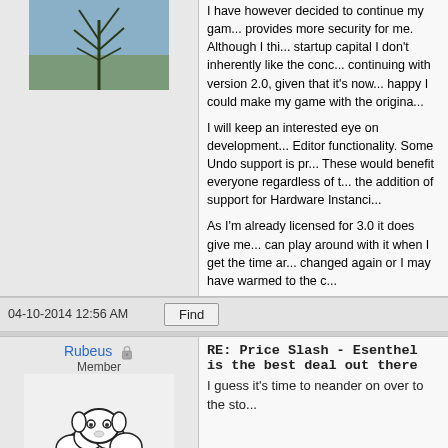I have however decided to continue my game... provides more security for me. Although I thi... startup capital I don't inherently like the conc... continuing with version 2.0, given that it's now... happy I could make my game with the origina...
I will keep an interested eye on development... Editor functionality. Some Undo support is pr... These would benefit everyone regardless of t... the addition of support for Hardware Instanci...
As I'm already licensed for 3.0 it does give me... can play around with it when I get the time ar... changed again or I may have warmed to the c...
04-10-2014 12:56 AM
Rubeus
Member
[Figure (illustration): Hand-drawn sheep avatar in black and white]
RE: Price Slash - Esenthel is the best deal out there
I guess it's time to neander on over to the sto...
04-10-2014 12:58 AM
knocks
Member
RE: Price Slash - Esenthel is the best deal out there
I value perpetual licensing over any price red...